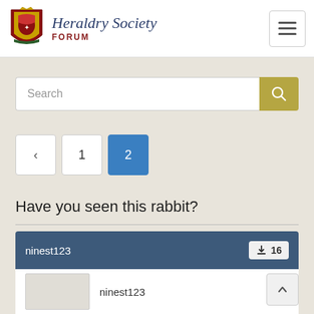Heraldry Society FORUM
Search
< 1 2
Have you seen this rabbit?
ninest123 ⬇16
ninest123